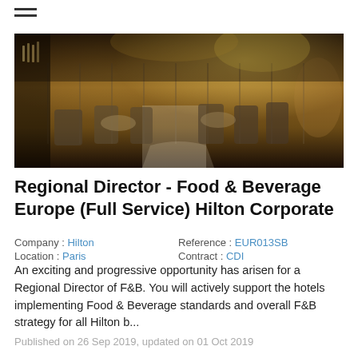≡
[Figure (photo): Hotel restaurant interior with elegant dining chairs, tables, checkered floor, warm lighting, and a bar area in the background]
Regional Director - Food & Beverage Europe (Full Service) Hilton Corporate
Company : Hilton     Reference : EUR013SB
Location : Paris     Contract : CDI
An exciting and progressive opportunity has arisen for a Regional Director of F&B. You will actively support the hotels implementing Food & Beverage standards and overall F&B strategy for all Hilton b...
Published on 26 Sep 2019, updated on 01 Oct 2019